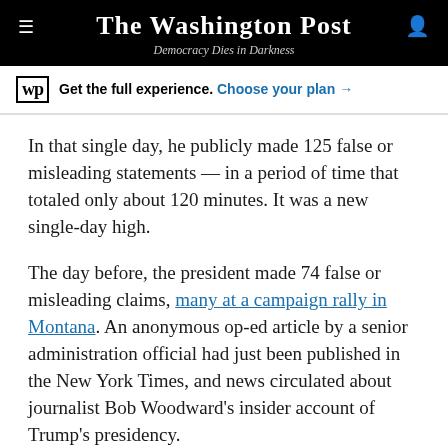The Washington Post — Democracy Dies in Darkness
Get the full experience. Choose your plan →
In that single day, he publicly made 125 false or misleading statements — in a period of time that totaled only about 120 minutes. It was a new single-day high.
The day before, the president made 74 false or misleading claims, many at a campaign rally in Montana. An anonymous op-ed article by a senior administration official had just been published in the New York Times, and news circulated about journalist Bob Woodward's insider account of Trump's presidency.